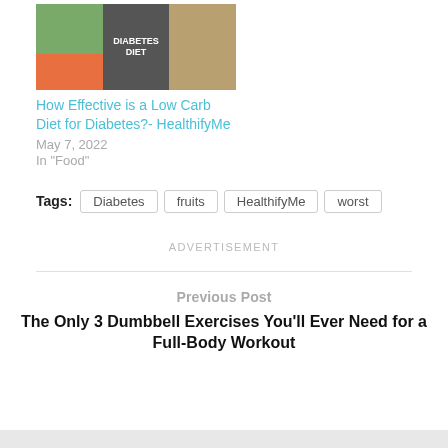[Figure (photo): Collage of three food images: green herbs/salmon on left, a chalkboard sign reading 'DIABETES DIET' in the center, and bread/grains on the right]
How Effective is a Low Carb Diet for Diabetes?- HealthifyMe
May 7, 2022
In "Food"
Tags: Diabetes  fruits  HealthifyMe  worst
ADVERTISEMENT
Previous Post
The Only 3 Dumbbell Exercises You'll Ever Need for a Full-Body Workout